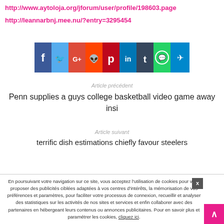http://www.aytoloja.org/jforum/user/profile/198603.page
http://leannarbnj.mee.nu/?entry=3295454
[Figure (infographic): Social media sharing bar with icons: Facebook (blue), Twitter (light blue), Google+ (red-orange), Reddit (orange-red), Pinterest (red), LinkedIn (blue), Tumblr (dark blue), WhatsApp (green), Telegram (blue)]
Article précédent
Penn supplies a guys college basketball video game away insi
Article suivant
terrific dish estimations chiefly favour steelers
En poursuivant votre navigation sur ce site, vous acceptez l'utilisation de cookies pour vous proposer des publicités ciblées adaptées à vos centres d'intérêts, la mémorisation de vos préférences et paramètres, pour faciliter votre processus de connexion, recueillir et analyser des statistiques sur les activités de nos sites et services et enfin collaborer avec des partenaires en hébergeant leurs contenus ou annonces publicitaires. Pour en savoir plus et paramétrer les cookies, cliquez ici.